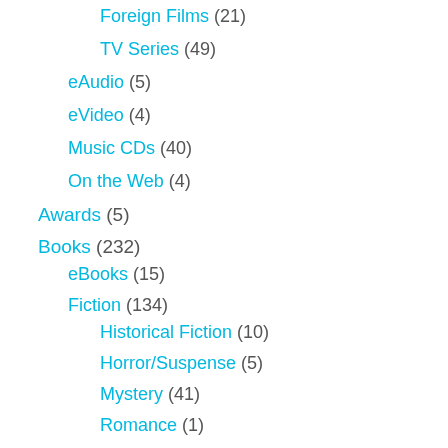Foreign Films (21)
TV Series (49)
eAudio (5)
eVideo (4)
Music CDs (40)
On the Web (4)
Awards (5)
Books (232)
eBooks (15)
Fiction (134)
Historical Fiction (10)
Horror/Suspense (5)
Mystery (41)
Romance (1)